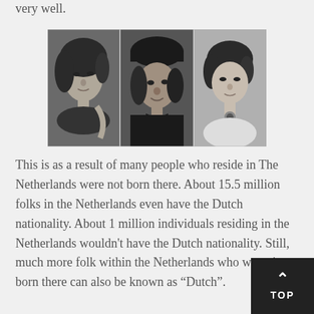very well.
[Figure (photo): Three black-and-white portrait photographs of women placed side by side.]
This is as a result of many people who reside in The Netherlands were not born there. About 15.5 million folks in the Netherlands even have the Dutch nationality. About 1 million individuals residing in the Netherlands wouldn't have the Dutch nationality. Still, much more folk within the Netherlands who weren't born there can also be known as “Dutch”.